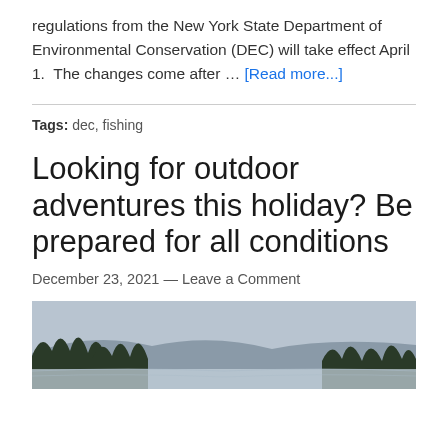regulations from the New York State Department of Environmental Conservation (DEC) will take effect April 1.  The changes come after … [Read more...]
Tags: dec, fishing
Looking for outdoor adventures this holiday? Be prepared for all conditions
December 23, 2021 — Leave a Comment
[Figure (photo): A winter lakeside landscape with evergreen trees and a cloudy sky over ice-covered water.]